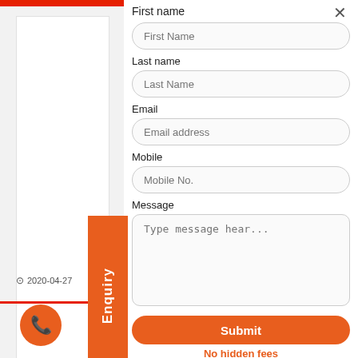First name
First Name
Last name
Last Name
Email
Email address
Mobile
Mobile No.
Message
Type message hear...
Submit
No hidden fees
Enquiry
2020-04-27